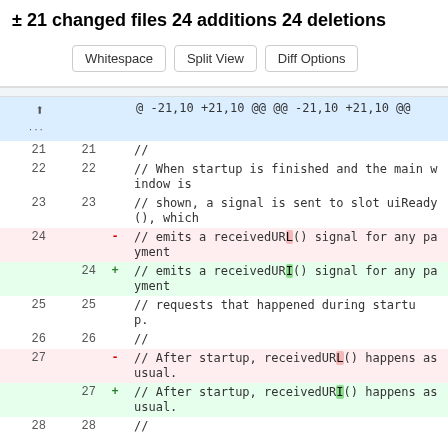± 21 changed files 24 additions 24 deletions
Whitespace | Split View | Diff Options
| old | new | sign | code |
| --- | --- | --- | --- |
|  |  |  | @ -21,10 +21,10 @@ @@ -21,10 +21,10 @@ |
| 21 | 21 |  | // |
| 22 | 22 |  | // When startup is finished and the main window is |
| 23 | 23 |  | // shown, a signal is sent to slot uiReady(), which |
| 24 |  | - | // emits a receivedURL() signal for any payment |
|  | 24 | + | // emits a receivedURI() signal for any payment |
| 25 | 25 |  | // requests that happened during startup. |
| 26 | 26 |  | // |
| 27 |  | - | // After startup, receivedURL() happens as usual. |
|  | 27 | + | // After startup, receivedURI() happens as usual. |
| 28 | 28 |  | // |